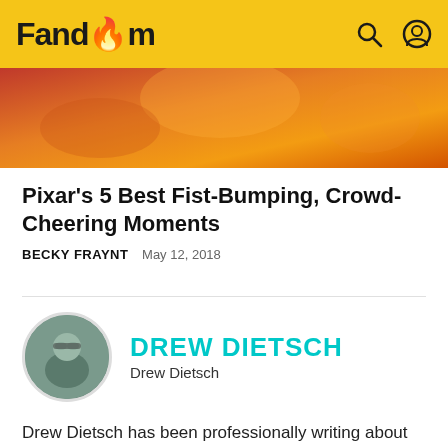Fandom
[Figure (photo): Cropped article hero image with warm orange/red tones, appears to be a Pixar character scene]
Pixar's 5 Best Fist-Bumping, Crowd-Cheering Moments
BECKY FRAYNT   May 12, 2018
[Figure (photo): Circular portrait photo of Drew Dietsch, a man with glasses]
DREW DIETSCH
Drew Dietsch
Drew Dietsch has been professionally writing about entertainment for over a decade. His bylines include FANDOM – where he was a founding contributor and Entertainment Editor – Bloody Disgusting, SYFY WIRE, and more. He created and hosts GenreVision, a weekly